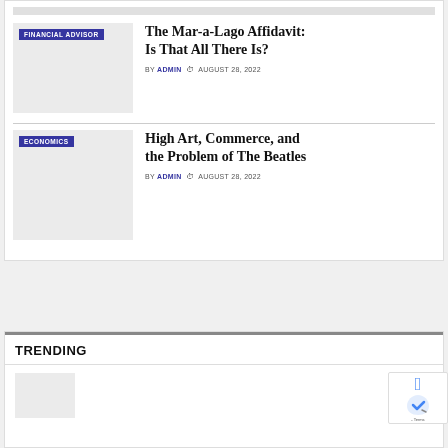[Figure (photo): Thumbnail image strip at top, light gray placeholder]
FINANCIAL ADVISOR
The Mar-a-Lago Affidavit: Is That All There Is?
BY ADMIN  © AUGUST 28, 2022
[Figure (photo): Article thumbnail placeholder, light gray]
ECONOMICS
High Art, Commerce, and the Problem of The Beatles
BY ADMIN  © AUGUST 28, 2022
TRENDING
[Figure (photo): Trending article thumbnail placeholder, light gray]